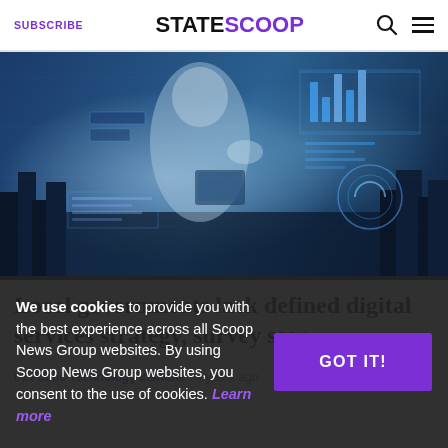SUBSCRIBE | STATESCOOP
[Figure (photo): Digital technology concept photo showing a business person interacting with holographic data displays, charts, and digital overlays on a city background — blue-toned double exposure image]
Local governments lack defined digital services strategy, survey says
by Public Technology Institute • 4 years ago
We use cookies to provide you with the best experience across all Scoop News Group websites. By using Scoop News Group websites, you consent to the use of cookies. Learn more